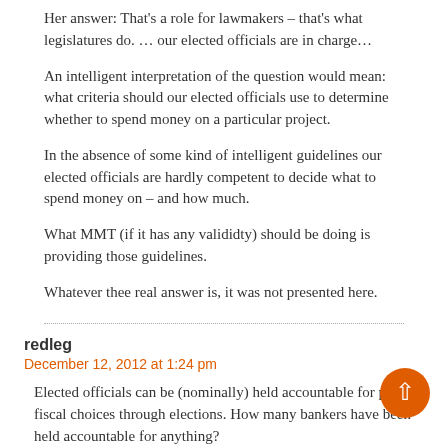Her answer: That's a role for lawmakers – that's what legislatures do. … our elected officials are in charge…
An intelligent interpretation of the question would mean: what criteria should our elected officials use to determine whether to spend money on a particular project.
In the absence of some kind of intelligent guidelines our elected officials are hardly competent to decide what to spend money on – and how much.
What MMT (if it has any valididty) should be doing is providing those guidelines.
Whatever thee real answer is, it was not presented here.
redleg
December 12, 2012 at 1:24 pm
Elected officials can be (nominally) held accountable for poor fiscal choices through elections. How many bankers have been held accountable for anything?
The economic megaproblem facing the developed world today is a PRIVATE credit bubble. Banks have no problem issuing money out of thin air (used intentionally, BTW) in the form of loans. In return they get a cut of the loan.